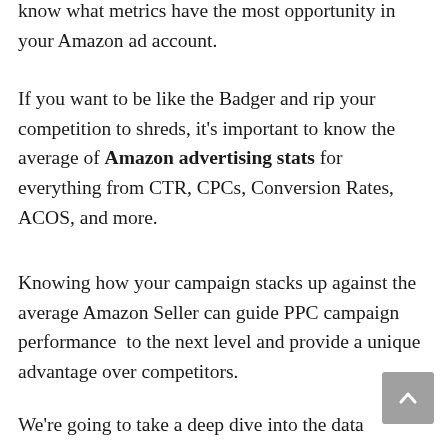know what metrics have the most opportunity in your Amazon ad account.
If you want to be like the Badger and rip your competition to shreds, it’s important to know the average of Amazon advertising stats for everything from CTR, CPCs, Conversion Rates, ACOS, and more.
Knowing how your campaign stacks up against the average Amazon Seller can guide PPC campaign performance  to the next level and provide a unique advantage over competitors.
We’re going to take a deep dive into the data